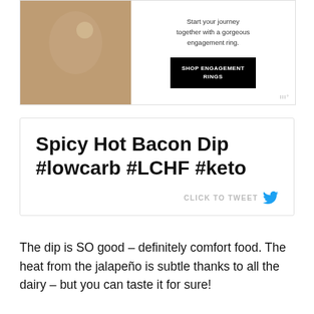[Figure (photo): Advertisement showing a woman wearing an engagement ring with text 'Start your journey together with a gorgeous engagement ring.' and a black button reading 'SHOP ENGAGEMENT RINGS']
Spicy Hot Bacon Dip #lowcarb #LCHF #keto
CLICK TO TWEET
The dip is SO good – definitely comfort food. The heat from the jalapeño is subtle thanks to all the dairy – but you can taste it for sure!